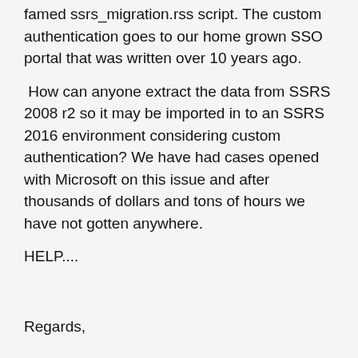famed ssrs_migration.rss script. The custom authentication goes to our home grown SSO portal that was written over 10 years ago.
How can anyone extract the data from SSRS 2008 r2 so it may be imported in to an SSRS 2016 environment considering custom authentication? We have had cases opened with Microsoft on this issue and after thousands of dollars and tons of hours we have not gotten anywhere.
HELP....
Regards,